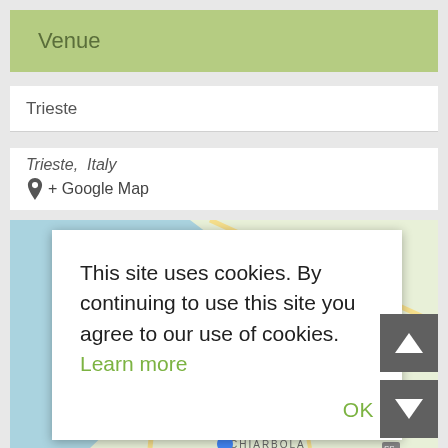Venue
Trieste
Trieste, Italy
+ Google Map
[Figure (screenshot): Google Maps screenshot showing Trieste, Italy area with a cookie consent dialog overlay. The map shows coastal area with labels including Orle, ITA, Opiciano, Padricia, Trieste, Ospedale di Cattinara, CHIARBOLA, and road/highway markings.]
This site uses cookies. By continuing to use this site you agree to our use of cookies. Learn more
OK